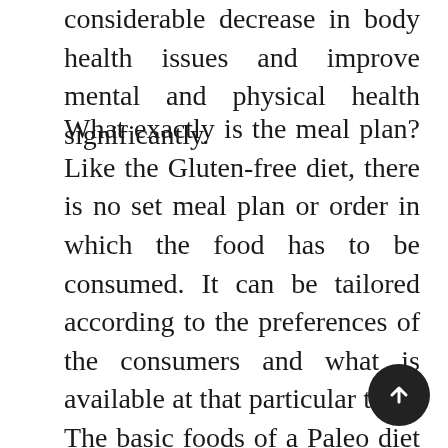considerable decrease in body health issues and improve mental and physical health significantly.
What exactly is the meal plan?Like the Gluten-free diet, there is no set meal plan or order in which the food has to be consumed. It can be tailored according to the preferences of the consumers and what is available at that particular time. The basic foods of a Paleo diet include Eggs, Meat, Fish, Herbs and some oils such as olive. Do not include sugar, dairy products, legumes, trans-fats and some vegetable oils.One can also include seafood as long as they are not processed. It is recommended to choose grass-fed and organic produce for whatever food is bought. One can find a lot of varieties paleo products Australia online which are orga...